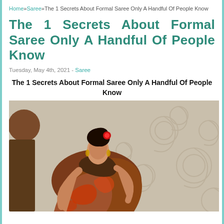Home»Saree»The 1 Secrets About Formal Saree Only A Handful Of People Know
The 1 Secrets About Formal Saree Only A Handful Of People Know
Tuesday, May 4th, 2021 - Saree
The 1 Secrets About Formal Saree Only A Handful Of People Know
[Figure (photo): Woman wearing a formal brown and red patterned saree, posed against a decorative beige background with swirl motifs.]